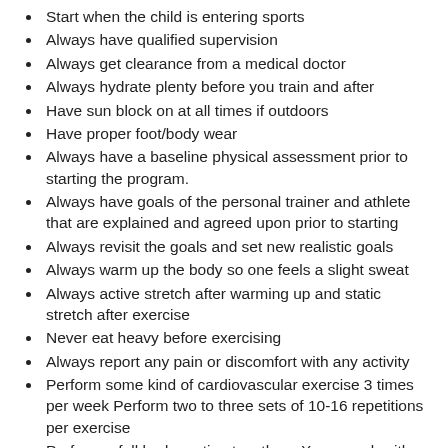Start when the child is entering sports
Always have qualified supervision
Always get clearance from a medical doctor
Always hydrate plenty before you train and after
Have sun block on at all times if outdoors
Have proper foot/body wear
Always have a baseline physical assessment prior to starting the program.
Always have goals of the personal trainer and athlete that are explained and agreed upon prior to starting
Always revisit the goals and set new realistic goals
Always warm up the body so one feels a slight sweat
Always active stretch after warming up and static stretch after exercise
Never eat heavy before exercising
Always report any pain or discomfort with any activity
Perform some kind of cardiovascular exercise 3 times per week Perform two to three sets of 10-16 repetitions per exercise
Perform a full body routine two-three X per week with 48-72 hours of rest in between
A must exercise prescription at first is teaching / training "athletic" posture, balance, coordination, spine and